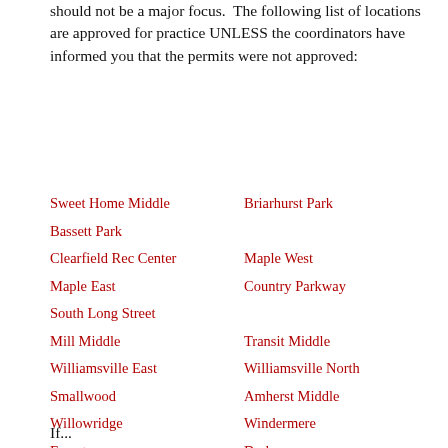should not be a major focus. The following list of locations are approved for practice UNLESS the coordinators have informed you that the permits were not approved:
Sweet Home Middle
Briarhurst Park
Bassett Park
Clearfield Rec Center
Maple West
Maple East
Country Parkway
South Long Street
Mill Middle
Transit Middle
Williamsville East
Williamsville North
Smallwood
Amherst Middle
Willowridge
Windermere
Forest
Dodge
Heritage Heights
Margaret Louise Park
Casey Middle
Heim Middle and Elementary
If...